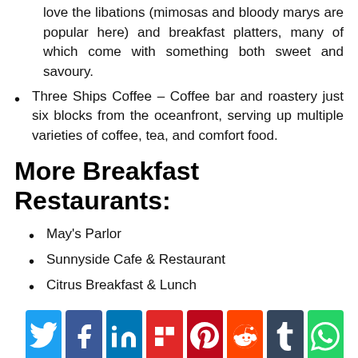love the libations (mimosas and bloody marys are popular here) and breakfast platters, many of which come with something both sweet and savoury.
Three Ships Coffee – Coffee bar and roastery just six blocks from the oceanfront, serving up multiple varieties of coffee, tea, and comfort food.
More Breakfast Restaurants:
May's Parlor
Sunnyside Cafe & Restaurant
Citrus Breakfast & Lunch
[Figure (infographic): Social media sharing icons row: Twitter (blue), Facebook (dark blue), LinkedIn (blue), Flipboard (red), Pinterest (dark red), Reddit (orange-red), Tumblr (dark slate), WhatsApp (green), and a generic share icon (dark/black).]